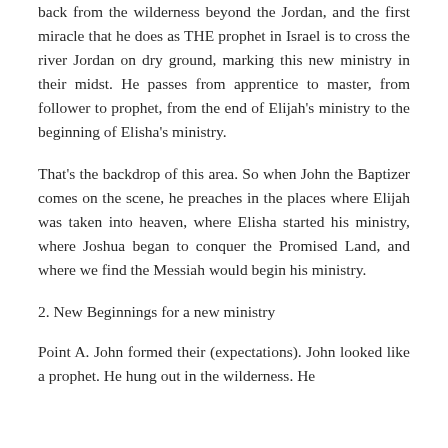back from the wilderness beyond the Jordan, and the first miracle that he does as THE prophet in Israel is to cross the river Jordan on dry ground, marking this new ministry in their midst. He passes from apprentice to master, from follower to prophet, from the end of Elijah's ministry to the beginning of Elisha's ministry.
That's the backdrop of this area. So when John the Baptizer comes on the scene, he preaches in the places where Elijah was taken into heaven, where Elisha started his ministry, where Joshua began to conquer the Promised Land, and where we find the Messiah would begin his ministry.
2. New Beginnings for a new ministry
Point A. John formed their (expectations). John looked like a prophet. He hung out in the wilderness. He